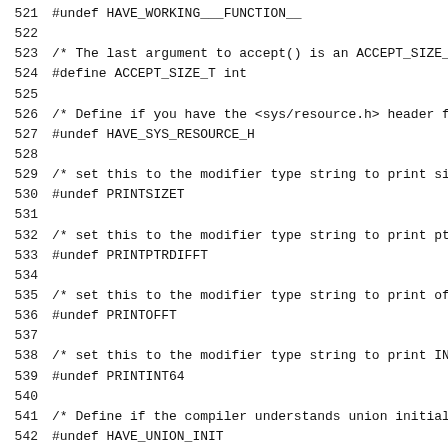521  #undef HAVE_WORKING___FUNCTION__
522
523  /* The last argument to accept() is an ACCEPT_SIZE_
524  #define ACCEPT_SIZE_T int
525
526  /* Define if you have the <sys/resource.h> header f
527  #undef HAVE_SYS_RESOURCE_H
528
529  /* set this to the modifier type string to print si
530  #undef PRINTSIZET
531
532  /* set this to the modifier type string to print pt
533  #undef PRINTPTRDIFFT
534
535  /* set this to the modifier type string to print of
536  #undef PRINTOFFT
537
538  /* set this to the modifier type string to print IN
539  #undef PRINTINT64
540
541  /* Define if the compiler understands union initial
542  #undef HAVE_UNION_INIT
543
544  /* Define if the compiler has problems with union a
545  #undef NO_COMBINED_TYPE_SUBTYPE
546
547  /* Define when binary... disable binary is used...